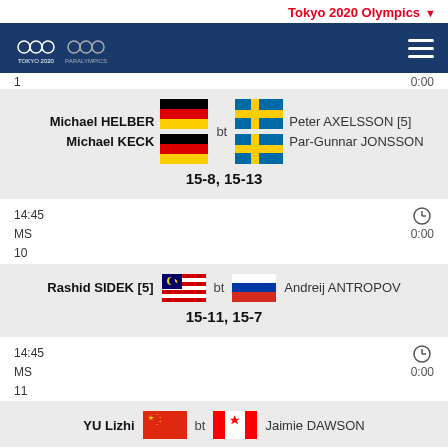Tokyo 2020 Olympics
[Figure (logo): Tokyo 2020 Olympics logos on navy navigation bar]
1
0:00
Michael HELBER [GER] bt Peter AXELSSON [5] [SWE]
Michael KECK [GER] bt Par-Gunnar JONSSON [SWE]
15-8, 15-13
14:45
MS
10
0:00
Rashid SIDEK [5] [MAS] bt Andreij ANTROPOV [RUS]
15-11, 15-7
14:45
MS
11
0:00
YU Lizhi [CHN] bt Jaimie DAWSON [CAN]